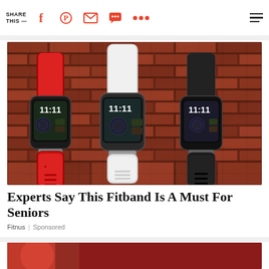SHARE THIS — [social icons: Facebook, Pinterest, Email, Chat, More, Menu]
[Figure (photo): Three fitness tracker smartbands displayed against a brick wall background. From left to right: a red band, a white/silver band (center, larger), and a black band. Each shows a digital display reading 11:11.]
Experts Say This Fitband Is A Must For Seniors
Fitnus | Sponsored
[Figure (photo): Partially visible image at the bottom of the page, appears to show a person in red and white clothing.]